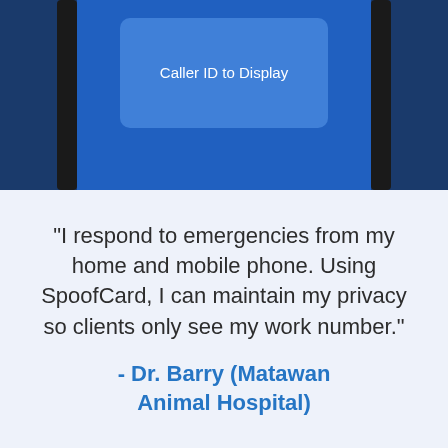[Figure (screenshot): Screenshot of a mobile app interface showing a blue 'Caller ID to Display' button/screen on a dark blue background with a phone device border visible.]
"I respond to emergencies from my home and mobile phone. Using SpoofCard, I can maintain my privacy so clients only see my work number."
- Dr. Barry (Matawan Animal Hospital)